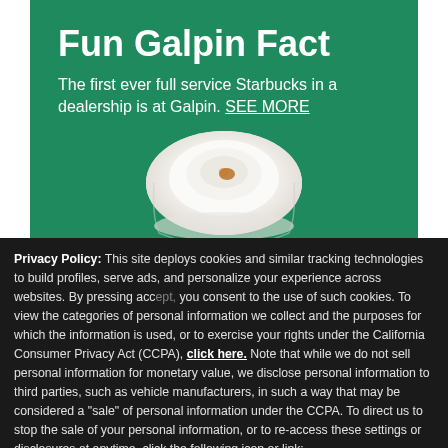[Figure (screenshot): Green Galpin banner with 'Fun Galpin Fact' heading, text about Starbucks, and a coffee cup image]
Fun Galpin Fact
The first ever full service Starbucks in a dealership is at Galpin. SEE MORE
Privacy Policy: This site deploys cookies and similar tracking technologies to build profiles, serve ads, and personalize your experience across websites. By pressing accept, you consent to the use of such cookies. To view the categories of personal information we collect and the purposes for which the information is used, or to exercise your rights under the California Consumer Privacy Act (CCPA), click here. Note that while we do not sell personal information for monetary value, we disclose personal information to third parties, such as vehicle manufacturers, in such a way that may be considered a "sale" of personal information under the CCPA. To direct us to stop the sale of your personal information, or to re-access these settings or disclosures at anytime, click the following icon or link:
Do Not Sell My Personal Information
Language: English
Powered by ComplyAuto
Accept and Continue →
California Privacy Disclosures